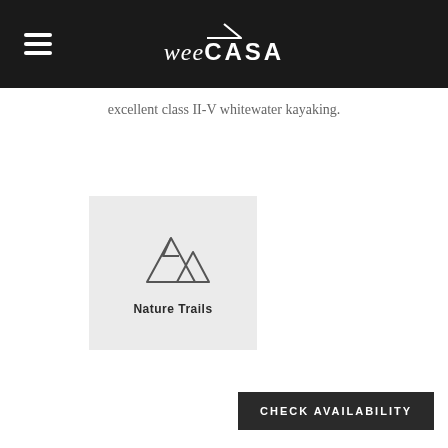weeCASA
excellent class II-V whitewater kayaking.
[Figure (illustration): Nature Trails icon: mountain peaks outline illustration on light grey card background with label 'Nature Trails']
CHECK AVAILABILITY